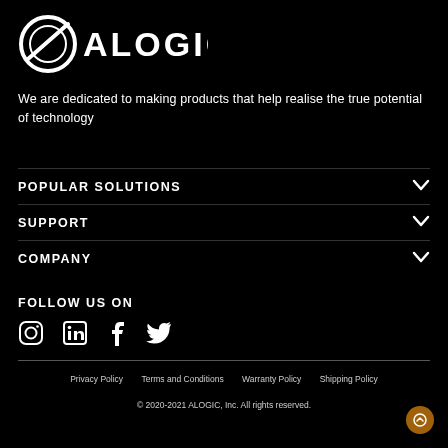[Figure (logo): ALOGIC company logo — circular strikethrough icon followed by ALOGIC text in white on black background]
We are dedicated to making products that help realise the true potential of technology
POPULAR SOLUTIONS
SUPPORT
COMPANY
FOLLOW US ON
[Figure (infographic): Social media icons: Instagram, LinkedIn, Facebook, Twitter (white icons on black background)]
Privacy Policy   Terms and Conditions   Warranty Policy   Shipping Policy
© 2020-2021 ALOGIC, Inc. All rights reserved.